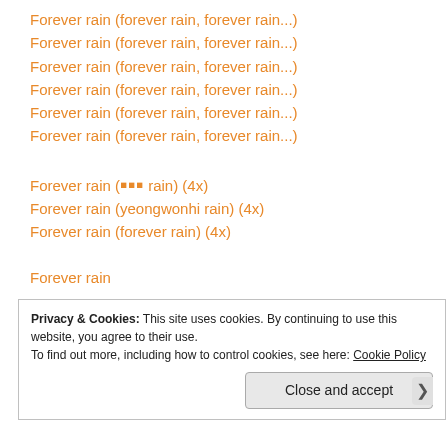Forever rain (forever rain, forever rain...)
Forever rain (forever rain, forever rain...)
Forever rain (forever rain, forever rain...)
Forever rain (forever rain, forever rain...)
Forever rain (forever rain, forever rain...)
Forever rain (forever rain, forever rain...)
Forever rain (영원히 rain) (4x)
Forever rain (yeongwonhi rain) (4x)
Forever rain (forever rain) (4x)
Forever rain
Privacy & Cookies: This site uses cookies. By continuing to use this website, you agree to their use.
To find out more, including how to control cookies, see here: Cookie Policy
Close and accept